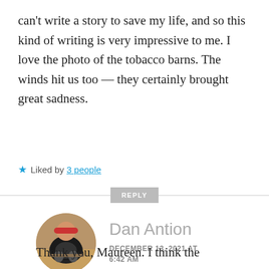can't write a story to save my life, and so this kind of writing is very impressive to me. I love the photo of the tobacco barns. The winds hit us too — they certainly brought great sadness.
★ Liked by 3 people
REPLY
Dan Antion
DECEMBER 13, 2021 AT 6:42 AM
Thank you, Maureen. I think the